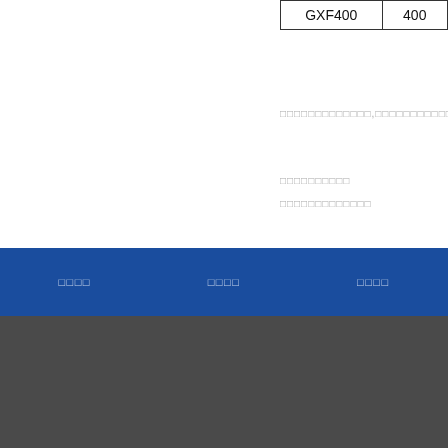| GXF400 | 400 |
| --- | --- |
□□□□□□□□□□□□□,□□□□□□□□□□□,□□□
□□□□□□□□□□
□□□□□□□□□□□□□
□□□□   □□□□   □□□□
□□□□□□
□□□052
□□□□□□□
□□□□□□□
□□□□□□□□
13961015222